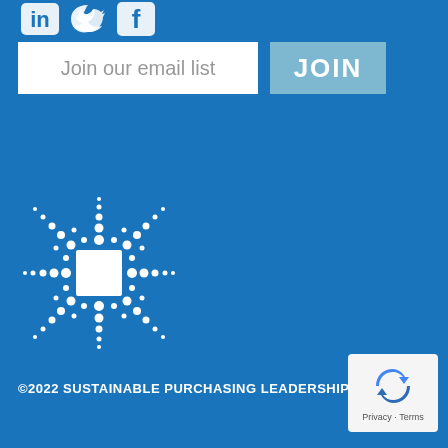[Figure (logo): Social media icons: LinkedIn, Twitter, Facebook — white icons on blue background]
Join our email list
JOIN
[Figure (logo): Sustainable Purchasing Leadership Council logo — white dots pattern forming a snowflake/asterisk shape with a white square in the center, on blue background]
©2022 SUSTAINABLE PURCHASING LEADERSHIP
[Figure (other): Google reCAPTCHA badge showing recycling arrow icon with Privacy and Terms links]